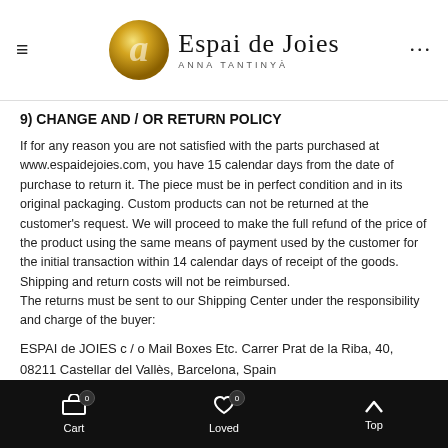Espai de Joies — Anna Tantinyà
9) CHANGE AND / OR RETURN POLICY
If for any reason you are not satisfied with the parts purchased at www.espaidejoies.com, you have 15 calendar days from the date of purchase to return it. The piece must be in perfect condition and in its original packaging. Custom products can not be returned at the customer's request. We will proceed to make the full refund of the price of the product using the same means of payment used by the customer for the initial transaction within 14 calendar days of receipt of the goods. Shipping and return costs will not be reimbursed.
The returns must be sent to our Shipping Center under the responsibility and charge of the buyer:
ESPAI de JOIES c / o Mail Boxes Etc. Carrer Prat de la Riba, 40, 08211 Castellar del Vallès, Barcelona, Spain
As proof of your return, we recommend that you keep the receipt of your return to track the delivery in our Returns Center and avoid loss.
Once the verification of the returned products in our Center, you will receive a confirmation email indicating that the amount will be paid in the same payment
Cart 0 | Loved 0 | Top